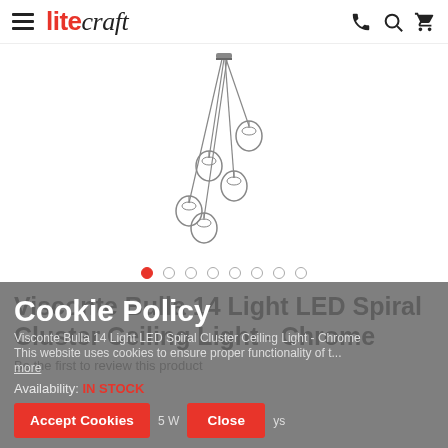litecraft
[Figure (photo): Visconte Bulla 14 Light LED Spiral Cluster Ceiling Light pendant lamps hanging, chrome finish, glass globe shades on wires]
Visconte Bulla 14 Light LED Spiral Cluster Ceiling Light - Chrome
Be the first to review this product
Cookie Policy
Visconte Bulla 14 Light LED Spiral Cluster Ceiling Light - Chrome
This website uses cookies to ensure proper functionality of t...
more
Availability: IN STOCK
U... 5 W... ys